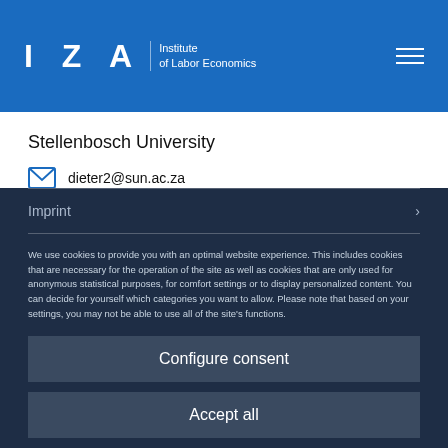IZA Institute of Labor Economics
Stellenbosch University
dieter2@sun.ac.za
Imprint
We use cookies to provide you with an optimal website experience. This includes cookies that are necessary for the operation of the site as well as cookies that are only used for anonymous statistical purposes, for comfort settings or to display personalized content. You can decide for yourself which categories you want to allow. Please note that based on your settings, you may not be able to use all of the site's functions.
Configure consent
Accept all